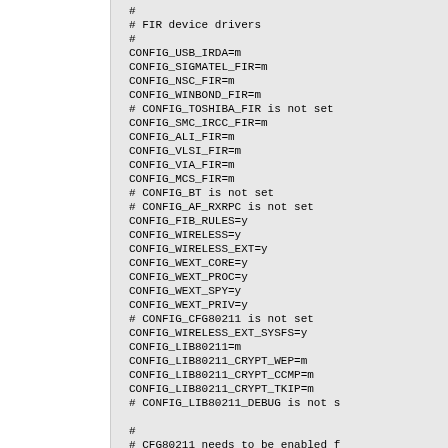#
# FIR device drivers
#
CONFIG_USB_IRDA=m
CONFIG_SIGMATEL_FIR=m
CONFIG_NSC_FIR=m
CONFIG_WINBOND_FIR=m
# CONFIG_TOSHIBA_FIR is not set
CONFIG_SMC_IRCC_FIR=m
CONFIG_ALI_FIR=m
CONFIG_VLSI_FIR=m
CONFIG_VIA_FIR=m
CONFIG_MCS_FIR=m
# CONFIG_BT is not set
# CONFIG_AF_RXRPC is not set
CONFIG_FIB_RULES=y
CONFIG_WIRELESS=y
CONFIG_WIRELESS_EXT=y
CONFIG_WEXT_CORE=y
CONFIG_WEXT_PROC=y
CONFIG_WEXT_SPY=y
CONFIG_WEXT_PRIV=y
# CONFIG_CFG80211 is not set
CONFIG_WIRELESS_EXT_SYSFS=y
CONFIG_LIB80211=m
CONFIG_LIB80211_CRYPT_WEP=m
CONFIG_LIB80211_CRYPT_CCMP=m
CONFIG_LIB80211_CRYPT_TKIP=m
# CONFIG_LIB80211_DEBUG is not s

#
# CFG80211 needs to be enabled f